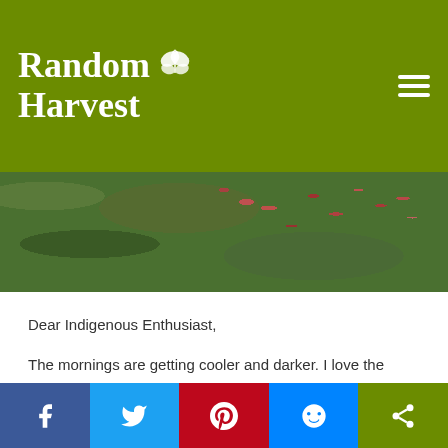Random Harvest
[Figure (photo): Close-up photo of plant with dark green leaves and red/pink berries]
Dear Indigenous Enthusiast,
The mornings are getting cooler and darker. I love the changing seasons it makes me feel as if I am in tune with the rhythms of the earth.  Something which, in our modern world, we are in danger of losing.
In the Nursery
Public Holidays